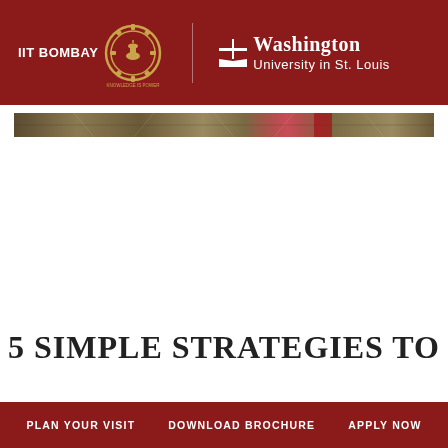IIT BOMBAY | Washington University in St. Louis
[Figure (photo): Horizontal banner strip showing architectural/interior photograph, sepia-toned]
5 SIMPLE STRATEGIES TO
PLAN YOUR VISIT   DOWNLOAD BROCHURE   APPLY NOW